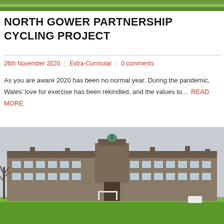[Figure (photo): Top partial image showing green landscape/grass]
NORTH GOWER PARTNERSHIP CYCLING PROJECT
26th November 2020 | Extra-Curricular | 0 comments
As you are aware 2020 has been no normal year. During the pandemic, Wales’ love for exercise has been rekindled, and the values to... READ MORE
[Figure (photo): Photograph of a large brick school building with a clock tower, green sports field in foreground, bare trees to the left, grey sky background]